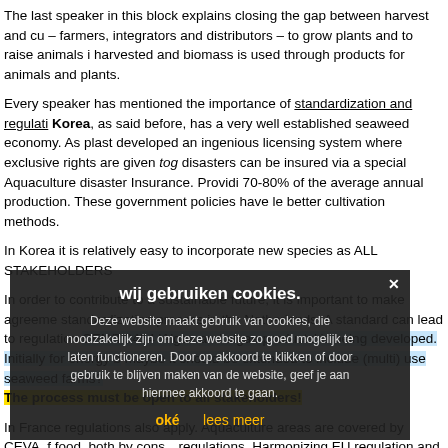The last speaker in this block explains closing the gap between harvest and cu – farmers, integrators and distributors – to grow plants and to raise animals i harvested and biomass is used through products for animals and plants.
Every speaker has mentioned the importance of standardization and regulati. Korea, as said before, has a very well established seaweed economy. As plast developed an ingenious licensing system where exclusive rights are given tog disasters can be insured via a special Aquaculture disaster Insurance. Providi 70-80% of the average annual production. These government policies have le better cultivation methods.
In Korea it is relatively easy to incorporate new species as ALL STAKEHOLDERS
In order to contribute to a sustainable future, it is important to make agreeme standardization process in the Netherlands. A standard can lead to regulation CEN/TC454 'Algae and algae products' is being developed. Initially for energy b maybe it should be extended to include (multi) use seaweed farms? The process must be open to all stakeholders!
In France regulations also apply. Aquaculture areas are covered by CEVA, f food, both by cons…regulations. Harmonizing EU regulation and main challenges:
1. levels of contaminants and